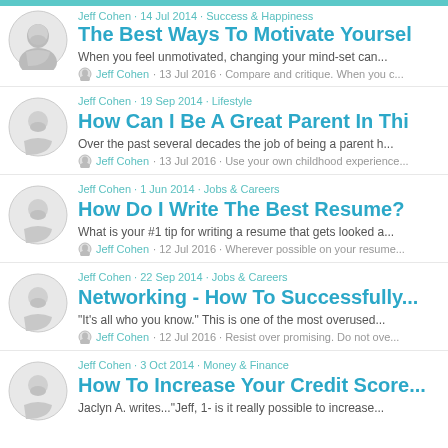Jeff Cohen · 14 Jul 2014 · Success & Happiness
The Best Ways To Motivate Yourself
When you feel unmotivated, changing your mind-set can...
Jeff Cohen · 13 Jul 2016 · Compare and critique. When you c...
Jeff Cohen · 19 Sep 2014 · Lifestyle
How Can I Be A Great Parent In This...
Over the past several decades the job of being a parent h...
Jeff Cohen · 13 Jul 2016 · Use your own childhood experience...
Jeff Cohen · 1 Jun 2014 · Jobs & Careers
How Do I Write The Best Resume?
What is your #1 tip for writing a resume that gets looked a...
Jeff Cohen · 12 Jul 2016 · Wherever possible on your resume...
Jeff Cohen · 22 Sep 2014 · Jobs & Careers
Networking - How To Successfully...
"It's all who you know." This is one of the most overused...
Jeff Cohen · 12 Jul 2016 · Resist over promising. Do not ove...
Jeff Cohen · 3 Oct 2014 · Money & Finance
How To Increase Your Credit Score...
Jaclyn A. writes..."Jeff, 1- is it really possible to increase...